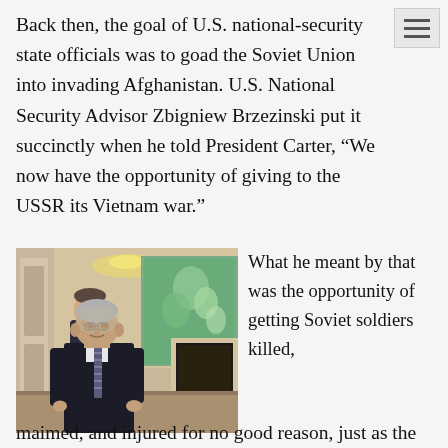Back then, the goal of U.S. national-security state officials was to goad the Soviet Union into invading Afghanistan. U.S. National Security Advisor Zbigniew Brzezinski put it succinctly when he told President Carter, “We now have the opportunity of giving to the USSR its Vietnam war.”
[Figure (photo): Two men in suits walking in an ornate room. The taller older man in the foreground wears a dark suit with a striped tie. A younger man behind him also wears a dark suit with a red tie. Background shows decorative Asian-inspired murals and a fireplace.]
What he meant by that was the opportunity of getting Soviet soldiers killed, maimed, and injured for no good reason, just as the